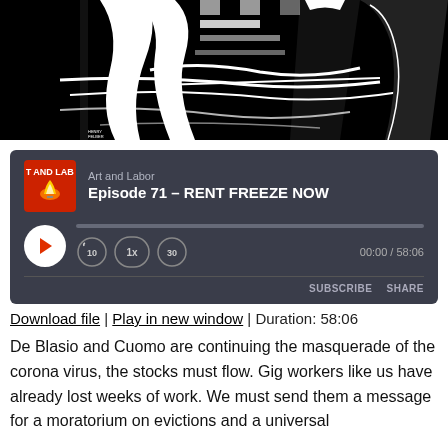[Figure (illustration): Black and white illustration with dramatic figures in dark/light contrast, appears to be a woodcut or similar print style showing robed or draped figures]
[Figure (screenshot): Podcast player widget for 'Art and Labor', Episode 71 - RENT FREEZE NOW, showing play button, progress bar, skip controls, time display 00:00 / 58:06, and SUBSCRIBE/SHARE buttons]
Download file | Play in new window | Duration: 58:06
De Blasio and Cuomo are continuing the masquerade of the corona virus, the stocks must flow. Gig workers like us have already lost weeks of work. We must send them a message for a moratorium on evictions and a universal